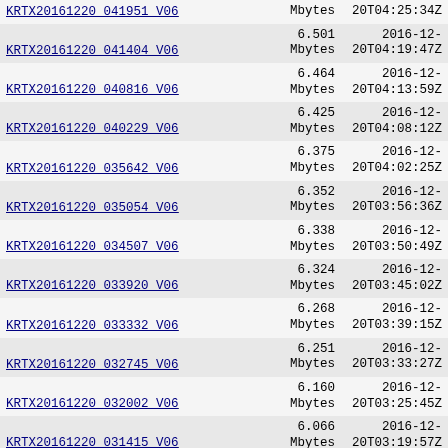| Name | Size | Date |
| --- | --- | --- |
| KRTX20161220 041951 V06 | Mbytes | 20T04:25:34Z |
| KRTX20161220 041404 V06 | 6.501 Mbytes | 2016-12-20T04:19:47Z |
| KRTX20161220 040816 V06 | 6.464 Mbytes | 2016-12-20T04:13:59Z |
| KRTX20161220 040229 V06 | 6.425 Mbytes | 2016-12-20T04:08:12Z |
| KRTX20161220 035642 V06 | 6.375 Mbytes | 2016-12-20T04:02:25Z |
| KRTX20161220 035054 V06 | 6.352 Mbytes | 2016-12-20T03:56:36Z |
| KRTX20161220 034507 V06 | 6.338 Mbytes | 2016-12-20T03:50:49Z |
| KRTX20161220 033920 V06 | 6.324 Mbytes | 2016-12-20T03:45:02Z |
| KRTX20161220 033332 V06 | 6.268 Mbytes | 2016-12-20T03:39:15Z |
| KRTX20161220 032745 V06 | 6.251 Mbytes | 2016-12-20T03:33:27Z |
| KRTX20161220 032002 V06 | 6.160 Mbytes | 2016-12-20T03:25:45Z |
| KRTX20161220 031415 V06 | 6.066 Mbytes | 2016-12-20T03:19:57Z |